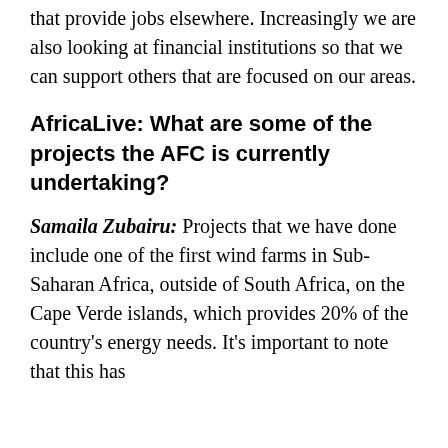that provide jobs elsewhere. Increasingly we are also looking at financial institutions so that we can support others that are focused on our areas.
AfricaLive: What are some of the projects the AFC is currently undertaking?
Samaila Zubairu: Projects that we have done include one of the first wind farms in Sub-Saharan Africa, outside of South Africa, on the Cape Verde islands, which provides 20% of the country's energy needs. It's important to note that this has